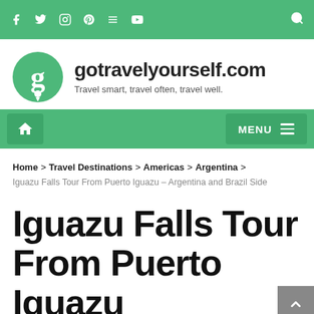gotravelyourself.com — social icons and navigation bar
[Figure (logo): gotravelyourself.com logo with green circular icon and site name with tagline]
Home > Travel Destinations > Americas > Argentina > Iguazu Falls Tour From Puerto Iguazu – Argentina and Brazil Side
Iguazu Falls Tour From Puerto Iguazu